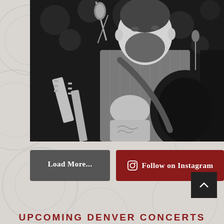[Figure (photo): Black and white concert photo of a bearded male musician singing into a microphone and playing guitar on stage]
Load More...
Follow on Instagram
UPCOMING DENVER CONCERTS